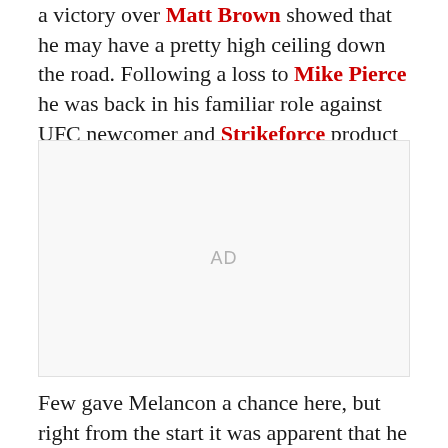a victory over Matt Brown showed that he may have a pretty high ceiling down the road. Following a loss to Mike Pierce he was back in his familiar role against UFC newcomer and Strikeforce product Brian Melancon.
[Figure (other): Advertisement placeholder box labeled AD]
Few gave Melancon a chance here, but right from the start it was apparent that he was going to show a lot